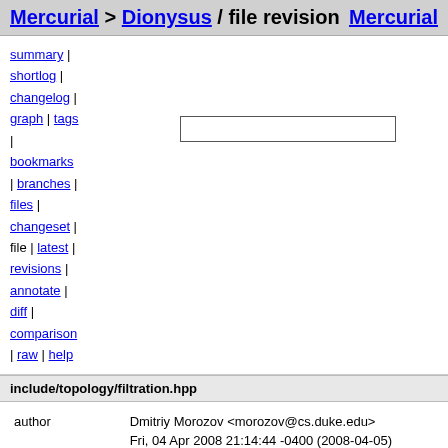Mercurial > Dionysus / file revision   Mercurial
summary |
shortlog |
changelog |
graph | tags
|
bookmarks
| branches |
files |
changeset |
file | latest |
revisions |
annotate |
diff |
comparison
| raw | help
include/topology/filtration.hpp
| field | value |
| --- | --- |
| author | Dmitriy Morozov <morozov@cs.duke.edu> |
|  | Fri, 04 Apr 2008 21:14:44 -0400 (2008-04-05) |
| branch | dev |
| changeset 87 | 2c2e2f3b5d15 |
| parent 54 | 8f88bd32153a |
| parent 83 | cf653a5a2d4f |
| child 90 | dea0e9726c62 |